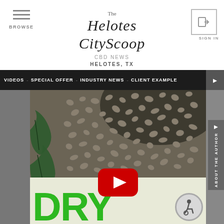The Helotes CityScoop — CBD NEWS — Helotes, TX
VIDEOS - SPECIAL OFFER - INDUSTRY NEWS - CLIENT EXAMPLES
[Figure (screenshot): Hemp seeds photo with YouTube play button overlay and green text at bottom reading 'DRY'. Side tab reads 'ABOUT THE AUTHOR'. Browse and Sign In buttons in header.]